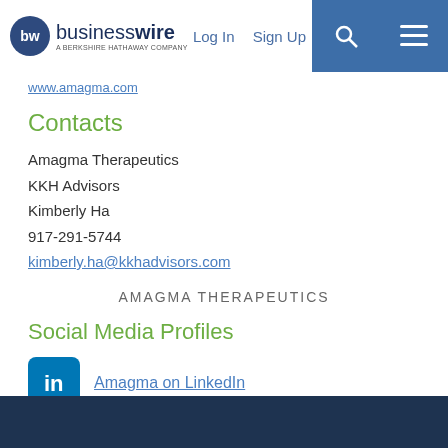businesswire — A BERKSHIRE HATHAWAY COMPANY | Log In | Sign Up
www.amagma.com
Contacts
Amagma Therapeutics
KKH Advisors
Kimberly Ha
917-291-5744
kimberly.ha@kkhadvisors.com
AMAGMA THERAPEUTICS
Social Media Profiles
Amagma on LinkedIn
More News